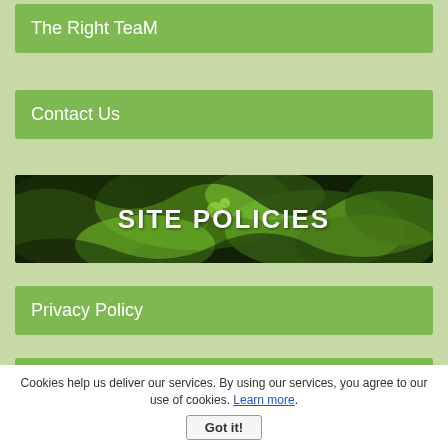The Right TeaM
Contact Us
[Figure (photo): Green tea leaves banner image with 'SITE POLICIES' text overlaid in white bold letters]
Privacy Policy
Disclaimer
[Figure (photo): Green tea leaves banner image at bottom, partially visible]
Cookies help us deliver our services. By using our services, you agree to our use of cookies. Learn more.
Got it!